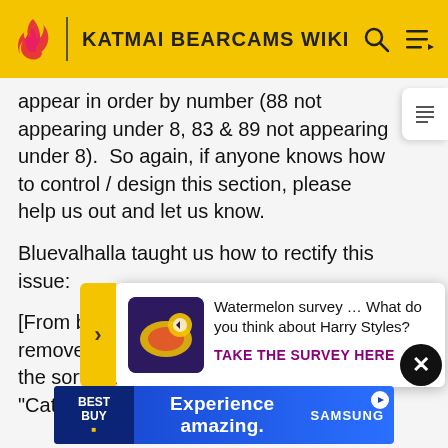KATMAI BEARCAMS WIKI
appear in order by number (88 not appearing under 8, 83 & 89 not appearing under 8).  So again, if anyone knows how to control / design this section, please help us out and let us know.
Bluevalhalla taught us how to rectify this issue:
[From bluevalhalla: I don't know how to remove the following sections, but I did modify the sort order. You can acco... lect "Cate... butto... c
proper alphabetical order by making all number 3 digits with pr... ply. changes and Save page.
[Figure (screenshot): Watermelon survey ad overlay: 'Watermelon survey … What do you think about Harry Styles? TAKE THE SURVEY HERE' with decorative image]
[Figure (screenshot): Best Buy banner ad: 'Experience amazing. SAMSUNG']